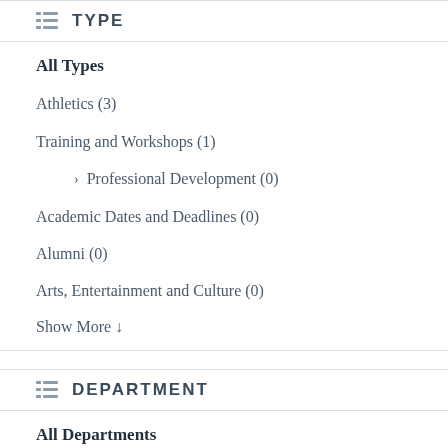TYPE
All Types
Athletics (3)
Training and Workshops (1)
› Professional Development (0)
Academic Dates and Deadlines (0)
Alumni (0)
Arts, Entertainment and Culture (0)
Show More ↓
DEPARTMENT
All Departments